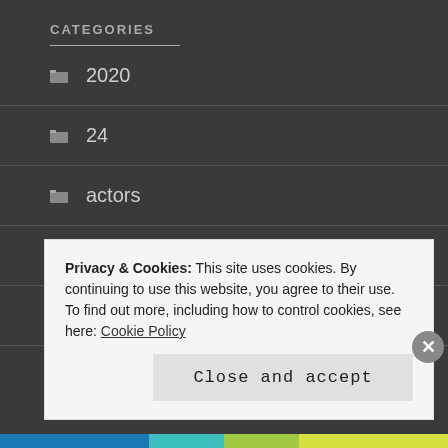CATEGORIES
2020
24
actors
Analyst
analyst relations
Privacy & Cookies: This site uses cookies. By continuing to use this website, you agree to their use.
To find out more, including how to control cookies, see here: Cookie Policy
Close and accept